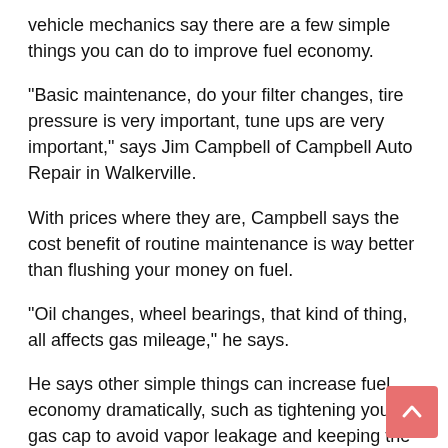vehicle mechanics say there are a few simple things you can do to improve fuel economy.
“Basic maintenance, do your filter changes, tire pressure is very important, tune ups are very important,” says Jim Campbell of Campbell Auto Repair in Walkerville.
With prices where they are, Campbell says the cost benefit of routine maintenance is way better than flushing your money on fuel.
“Oil changes, wheel bearings, that kind of thing, all affects gas mileage,” he says.
He says other simple things can increase fuel economy dramatically, such as tightening your gas cap to avoid vapor leakage and keeping the air in your tires at the right level.
“The rolling resistance is better with air in your tires,” he says.